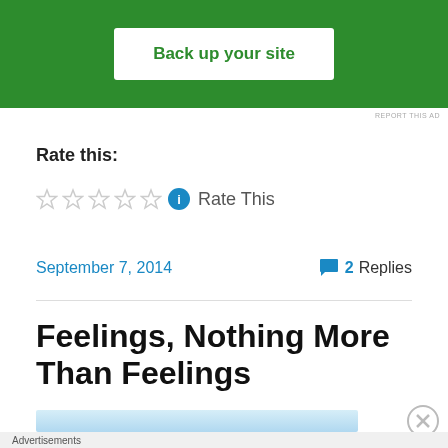[Figure (screenshot): Green advertisement banner with white button reading 'Back up your site']
REPORT THIS AD
Rate this:
☆☆☆☆☆ ℹ Rate This
September 7, 2014
💬 2 Replies
Feelings, Nothing More Than Feelings
[Figure (screenshot): Partial blue image bar visible at bottom]
Advertisements
[Figure (screenshot): DuckDuckGo advertisement: 'Search, browse, and email with more privacy. All in One Free App']